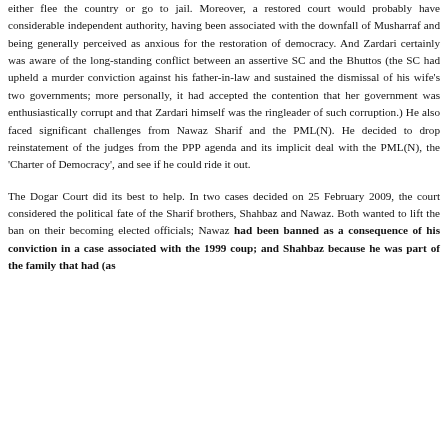either flee the country or go to jail. Moreover, a restored court would probably have considerable independent authority, having been associated with the downfall of Musharraf and being generally perceived as anxious for the restoration of democracy. And Zardari certainly was aware of the long-standing conflict between an assertive SC and the Bhuttos (the SC had upheld a murder conviction against his father-in-law and sustained the dismissal of his wife's two governments; more personally, it had accepted the contention that her government was enthusiastically corrupt and that Zardari himself was the ringleader of such corruption.) He also faced significant challenges from Nawaz Sharif and the PML(N). He decided to drop reinstatement of the judges from the PPP agenda and its implicit deal with the PML(N), the 'Charter of Democracy', and see if he could ride it out.
The Dogar Court did its best to help. In two cases decided on 25 February 2009, the court considered the political fate of the Sharif brothers, Shahbaz and Nawaz. Both wanted to lift the ban on their becoming elected officials; Nawaz had been banned as a consequence of his conviction in a case associated with the 1999 coup; and Shahbaz because he was part of the family that had (as